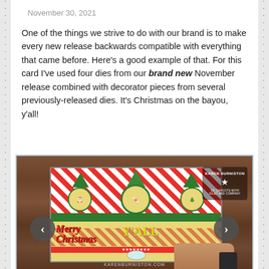November 30, 2021
One of the things we strive to do with our brand is to make every new release backwards compatible with everything that came before. Here’s a good example of that. For this card I’ve used four dies from our brand new November release combined with decorator pieces from several previously-released dies. It’s Christmas on the bayou, y’all!
[Figure (photo): Person holding a colorful Christmas card featuring red and white checkered pattern, green foliage dies, medallions with candy canes, 'Merry Christmas Y'All' text in red and yellow, with Karen Burniston logo watermark visible. Navigation arrows on left and right sides.]